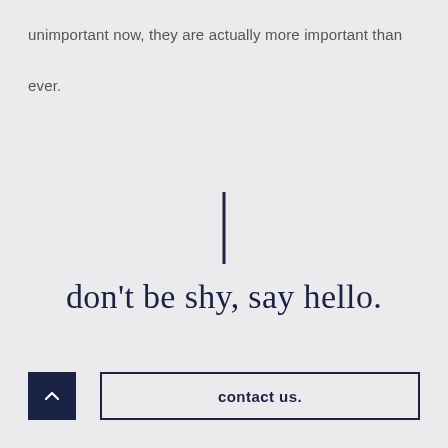unimportant now, they are actually more important than ever.
[Figure (other): Vertical dark navy divider bar]
don't be shy, say hello.
[Figure (other): Back to top button: dark navy square with upward chevron arrow]
contact us.